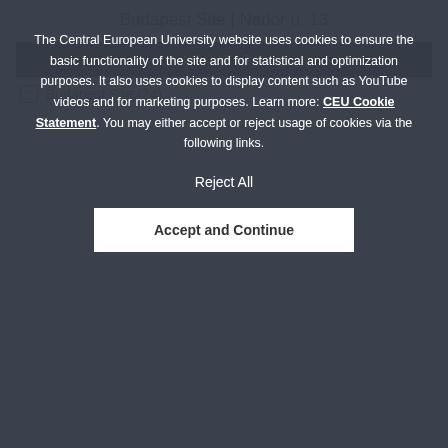Budapest Site | Nador u. 13
LOCATION
Budapest Site (24)
The Central European University website uses cookies to ensure the basic functionality of the site and for statistical and optimization purposes. It also uses cookies to display content such as YouTube videos and for marketing purposes. Learn more: CEU Cookie Statement. You may either accept or reject usage of cookies via the following links.
Reject All
Accept and Continue